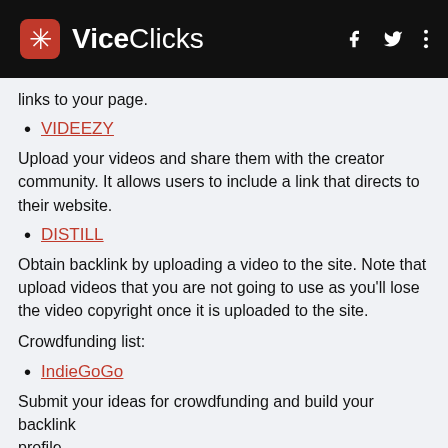ViceClicks
links to your page.
VIDEEZY
Upload your videos and share them with the creator community. It allows users to include a link that directs to their website.
DISTILL
Obtain backlink by uploading a video to the site. Note that upload videos that you are not going to use as you'll lose the video copyright once it is uploaded to the site.
Crowdfunding list:
IndieGoGo
Submit your ideas for crowdfunding and build your backlink profile.